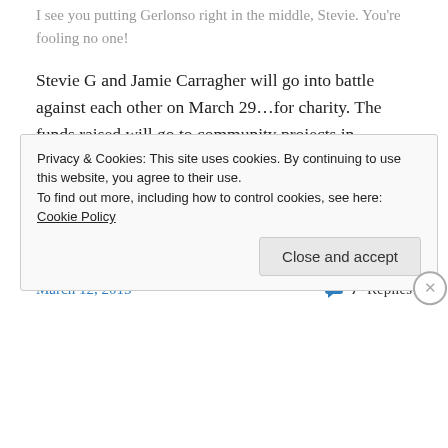I see you putting Gerlonso right in the middle, Stevie. You're fooling no one!
Stevie G and Jamie Carragher will go into battle against each other on March 29…for charity. The funds raised will go to community projects in Liverpool. The match completely sold out in hours (surprised it wasn't minutes, actually) but you can check out the teams after the jump.
Continue reading →
March 12, 2015
7 Replies
Privacy & Cookies: This site uses cookies. By continuing to use this website, you agree to their use.
To find out more, including how to control cookies, see here: Cookie Policy
Close and accept